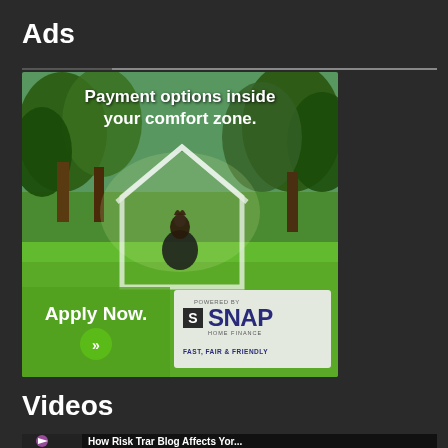Ads
[Figure (photo): Advertisement banner for SNAP Home Finance showing a woman meditating in a park with a house outline overlay. Text reads 'Payment options inside your comfort zone.' with 'Apply Now.' button and SNAP Home Finance logo with tagline 'POWERED BY SNAP HOME FINANCE FAST, FAIR & FRIENDLY']
Videos
[Figure (screenshot): Video thumbnail strip showing a partially visible video with a circular logo on the left and partial text]